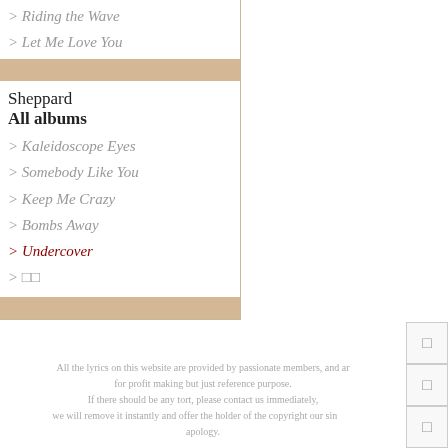> Riding the Wave
> Let Me Love You
Sheppard
All albums
> Kaleidoscope Eyes
> Somebody Like You
> Keep Me Crazy
> Bombs Away
> Undercover
> □□
All the lyrics on this website are provided by passionate members, and are not for profit making but just reference purpose. If there should be any tort, please contact us immediately, we will remove it instantly and offer the holder of the copyright our sincere apology.